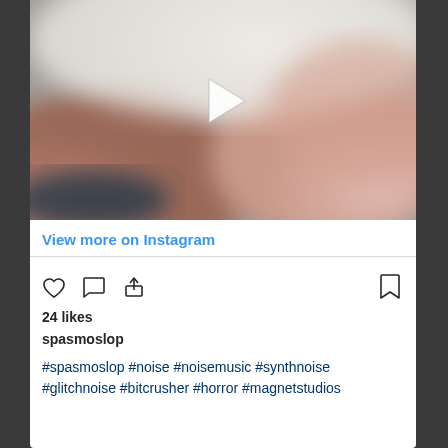[Figure (screenshot): Blurred video thumbnail with a play button triangle in the center. Colors are muted blues, reds, pinks and beiges in a blurry abstract photo.]
View more on Instagram
[Figure (other): Instagram action icons: heart (like), comment bubble, share arrow pointing up, and bookmark icon on the right]
24 likes
spasmoslop
#spasmoslop #noise #noisemusic #synthnoise #glitchnoise #bitcrusher #horror #magnetstudios